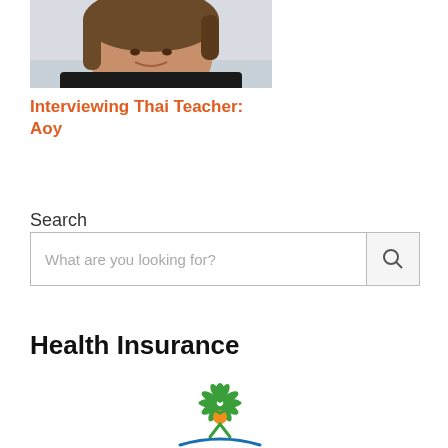[Figure (photo): Photo of a smiling woman with brown hair, cropped at the top of the page]
Interviewing Thai Teacher: Aoy
Search
What are you looking for?
Health Insurance
[Figure (logo): Health insurance logo: a stylized figure with arms raised, forming a tree shape with green leaf canopy, orange circle body, and blue curved base]